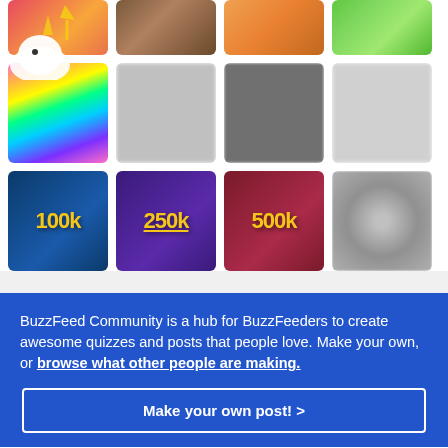[Figure (illustration): Grid of thumbnail images showing badges and illustrations. First partial row shows 4 cropped images. Second row shows unicorn illustration and 3 blurred/gray images. Third row shows 100k, 250k, 500k milestone badges and a grayscale image.]
BuzzFeed Community is a hub for BuzzFeeders to create awesome quizzes and posts that people love. Make your own, or browse what other people are making.
Make your own post! >